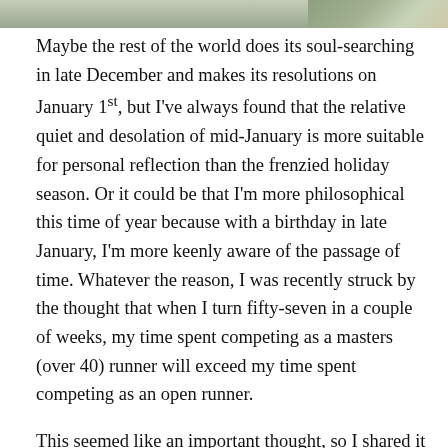[Figure (photo): Partial photo strip at the top of the page showing an outdoor scene, cropped at the top edge]
Maybe the rest of the world does its soul-searching in late December and makes its resolutions on January 1st, but I've always found that the relative quiet and desolation of mid-January is more suitable for personal reflection than the frenzied holiday season. Or it could be that I'm more philosophical this time of year because with a birthday in late January, I'm more keenly aware of the passage of time. Whatever the reason, I was recently struck by the thought that when I turn fifty-seven in a couple of weeks, my time spent competing as a masters (over 40) runner will exceed my time spent competing as an open runner.
This seemed like an important thought, so I shared it with a few of my teammates while we warmed up for an indoor track workout Friday night, and then again as we set out for a long run Sunday. Although it seemed like a big deal